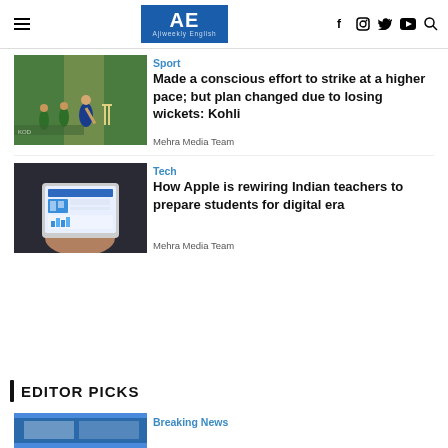AE Ajiweekly English — navigation header with hamburger menu, logo, social icons (f, instagram, twitter, youtube, search)
[Figure (photo): Cricket match photo: Indian batsman in blue jersey playing a shot, Pakistani players visible in background on green field]
Sport
Made a conscious effort to strike at a higher pace; but plan changed due to losing wickets: Kohli
Mehra Media Team
[Figure (photo): Person holding a tablet/iPad displaying a colorful dashboard or chart app, dark background]
Tech
How Apple is rewiring Indian teachers to prepare students for digital era
Mehra Media Team
EDITOR PICKS
Breaking News